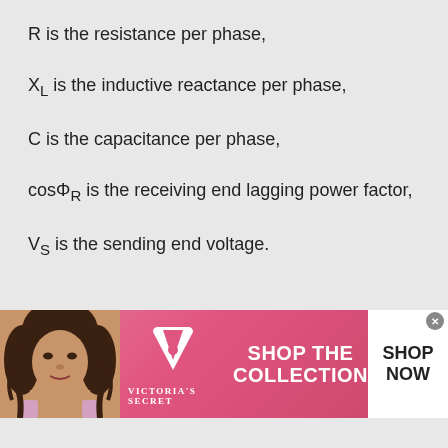R is the resistance per phase,
X_L is the inductive reactance per phase,
C is the capacitance per phase,
cosΦ_R is the receiving end lagging power factor,
V_S is the sending end voltage.
[Figure (other): Victoria's Secret advertisement banner with model photo, VS logo, 'SHOP THE COLLECTION' text, and 'SHOP NOW' button]